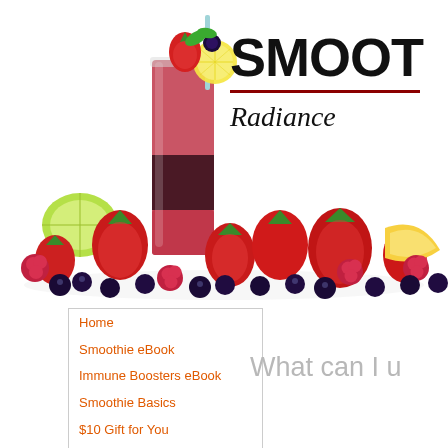[Figure (photo): A tall layered berry smoothie glass garnished with strawberry, lemon slice, blueberry and mint, surrounded by fresh strawberries, raspberries, blueberries, and lemon slices on a white background]
SMOOT
Radiance
Home
Smoothie eBook
Immune Boosters eBook
Smoothie Basics
$10 Gift for You
Free eBook
What can I u